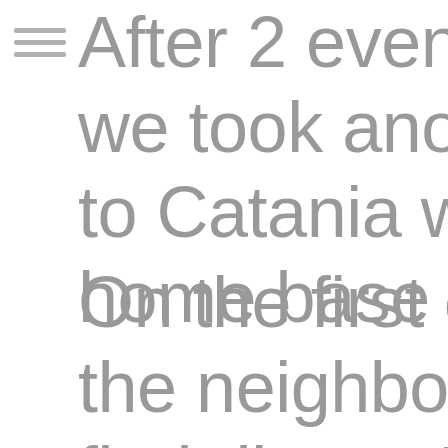[Figure (other): Hamburger menu icon with three horizontal lines]
After 2 evenings we took another to Catania which home base for th
On the first eveni the neighborhood find dinner. We tr